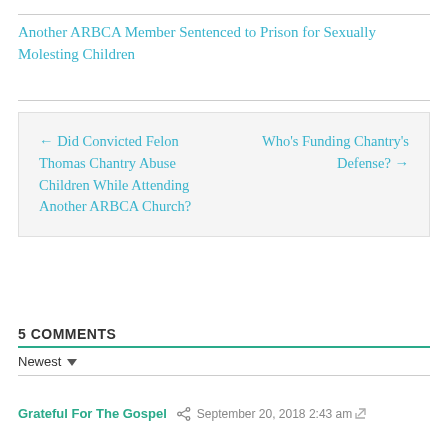Another ARBCA Member Sentenced to Prison for Sexually Molesting Children
← Did Convicted Felon Thomas Chantry Abuse Children While Attending Another ARBCA Church?
Who's Funding Chantry's Defense? →
5 COMMENTS
Newest
Grateful For The Gospel  September 20, 2018 2:43 am